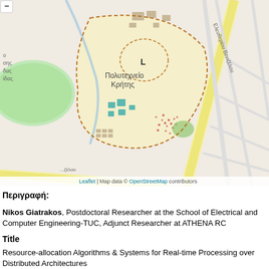[Figure (map): OpenStreetMap showing Polytechnic University of Crete (Πολυτεχνείο Κρήτης) campus area with surrounding streets, including Ελευθερίου Βενιζέλου road. Map shows campus buildings, green areas, a lake, and surrounding urban infrastructure.]
Leaflet | Map data © OpenStreetMap contributors
Περιγραφή:
Nikos Giatrakos, Postdoctoral Researcher at the School of Electrical and Computer Engineering-TUC, Adjunct Researcher at ATHENA RC
Title
Resource-allocation Algorithms & Systems for Real-time Processing over Distributed Architectures
Abstract
Many diverse applications from the life science, financial, maritime and other domains produce large volumes of data with speeds reaching